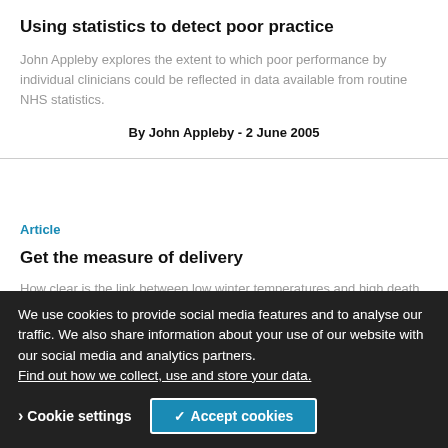Using statistics to detect poor practice
John Appleby explores the extent to which poor performance by individual clinicians could be reflected in data available from routine NHS statistics.
By John Appleby - 2 June 2005
Article
Get the measure of delivery
How clear is the link between low winter temperatures and high death rates? John Appleby argues that the NHS needs
We use cookies to provide social media features and to analyse our traffic. We also share information about your use of our website with our social media and analytics partners. Find out how we collect, use and store your data.
Cookie settings
✓ Accept cookies